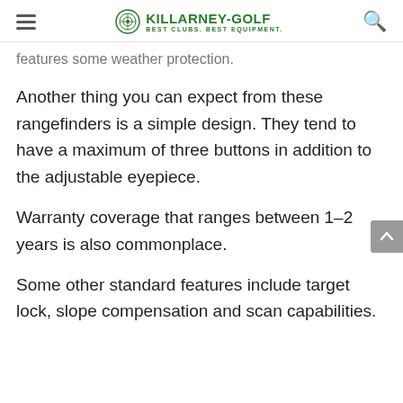KILLARNEY-GOLF BEST CLUBS. BEST EQUIPMENT.
features some weather protection.
Another thing you can expect from these rangefinders is a simple design. They tend to have a maximum of three buttons in addition to the adjustable eyepiece.
Warranty coverage that ranges between 1–2 years is also commonplace.
Some other standard features include target lock, slope compensation and scan capabilities.